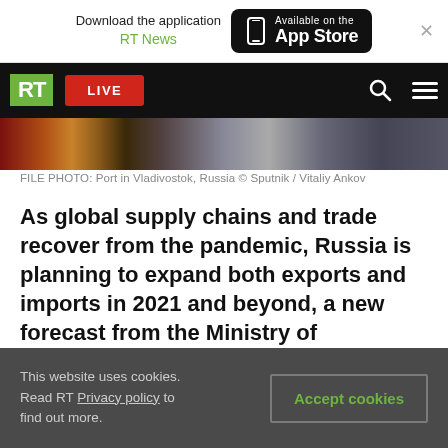Download the application RT News — Available on the App Store
[Figure (screenshot): RT website navigation bar with green RT logo, red LIVE button, search icon, and hamburger menu on black background]
[Figure (photo): FILE PHOTO: Port in Vladivostok, Russia — colorful image strip]
FILE PHOTO: Port in Vladivostok, Russia © Sputnik / Vitaliy Ankov
As global supply chains and trade recover from the pandemic, Russia is planning to expand both exports and imports in 2021 and beyond, a new forecast from the Ministry of Economic Development shows.
According to the ministry's outlook for Russia's socio-economic development, seen by TASS news
This website uses cookies. Read RT Privacy policy to find out more.